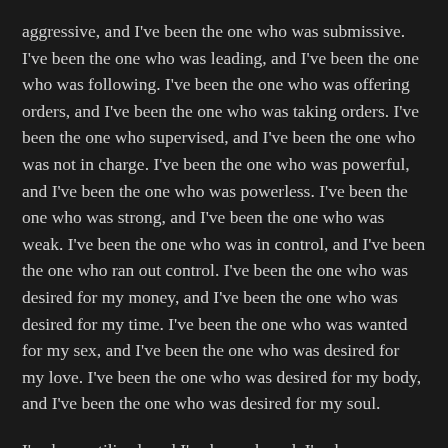aggressive, and I've been the one who was submissive. I've been the one who was leading, and I've been the one who was following. I've been the one who was offering orders, and I've been the one who was taking orders. I've been the one who supervised, and I've been the one who was not in charge. I've been the one who was powerful, and I've been the one who was powerless. I've been the one who was strong, and I've been the one who was weak. I've been the one who was in control, and I've been the one who ran out control. I've been the one who was desired for my money, and I've been the one who was desired for my time. I've been the one who was wanted for my sex, and I've been the one who was desired for my love. I've been the one who was desired for my body, and I've been the one who was desired for my soul.
I've been utilized, and I've been abused. I've been desired, and I've been unwanted. I've been loved, and I've been